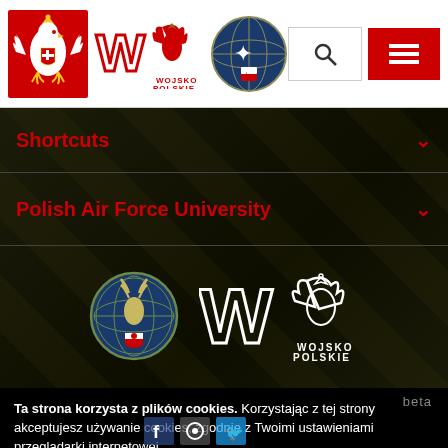[Figure (logo): Polish government header with Polish eagle logo (red/white), WP Wojsko Polskie logo, Polish Air Force University globe seal, search icon, and red hamburger menu button]
Shortcuts
Polish Air Force University
[Figure (logo): Polish Air Force University circular seal and WP Wojsko Polskie white/outline logo on dark background]
beta
Ta strona korzysta z plików cookies. Korzystając z tej strony akceptujesz używanie cookies, zgodnie z Twoimi ustawieniami przeglądarki internetowej.
Zgadzam się